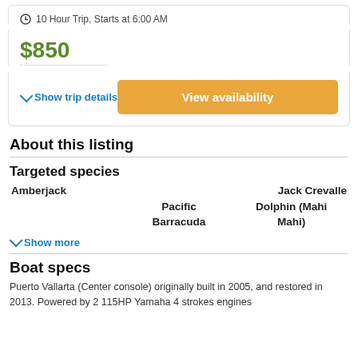10 Hour Trip, Starts at 6:00 AM
$850
Show trip details
View availability
About this listing
Targeted species
Amberjack
Jack Crevalle
Pacific Barracuda
Dolphin (Mahi Mahi)
Show more
Boat specs
Puerto Vallarta (Center console) originally built in 2005, and restored in 2013. Powered by 2 115HP Yamaha 4 strokes engines